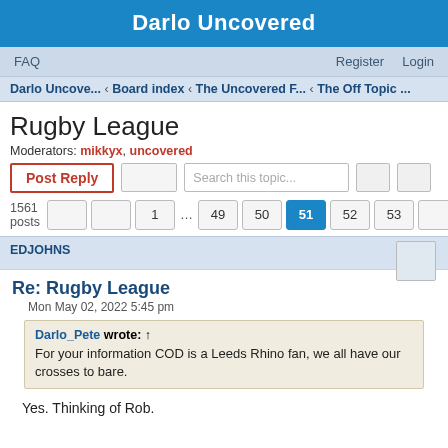Darlo Uncovered
FAQ  Register  Login
Darlo Uncove... ‹ Board index ‹ The Uncovered F... ‹ The Off Topic ...
Rugby League
Moderators: mikkyx, uncovered
Post Reply   Search this topic...   1561 posts  1 ... 49 50 51 52 53
EDJOHNS
Re: Rugby League
Mon May 02, 2022 5:45 pm
Darlo_Pete wrote: ↑
For your information COD is a Leeds Rhino fan, we all have our crosses to bare.
Yes. Thinking of Rob.